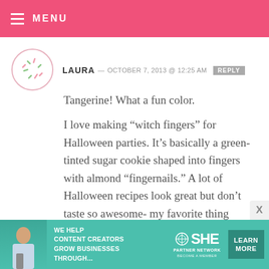MENU
LAURA — OCTOBER 7, 2013 @ 12:25 AM  REPLY
Tangerine! What a fun color.

I love making “witch fingers” for Halloween parties. It’s basically a green-tinted sugar cookie shaped into fingers with almond “fingernails.” A lot of Halloween recipes look great but don’t taste so awesome- my favorite thing about these is that they taste delicious! (-ly spooky)
[Figure (infographic): Advertisement banner: SHE PARTNER NETWORK - WE HELP CONTENT CREATORS GROW BUSINESSES THROUGH... LEARN MORE BECOME A MEMBER]
WE HELP CONTENT CREATORS GROW BUSINESSES THROUGH... SHE PARTNER NETWORK BECOME A MEMBER LEARN MORE